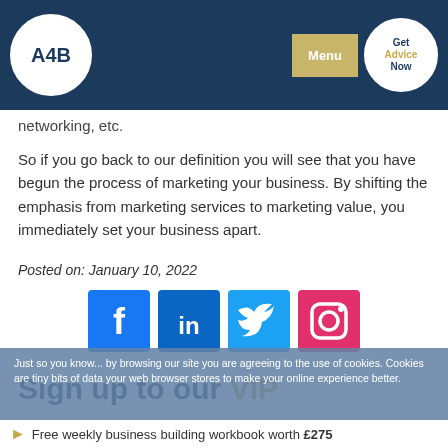A4B | Menu | Get Advice Now
networking, etc.
So if you go back to our definition you will see that you have begun the process of marketing your business. By shifting the emphasis from marketing services to marketing value, you immediately set your business apart.
Posted on: January 10, 2022
[Figure (illustration): Social media icons row: Facebook (blue), LinkedIn (blue), Twitter (light blue), Instagram (pink/red)]
Sign up to our VIP mailing list today, it's free!
Just so you know... by browsing our site you are agreeing to the use of cookies. Cookies are tiny bits of data your web browser stores to make your online experience better.
Free weekly business building workbook worth £275